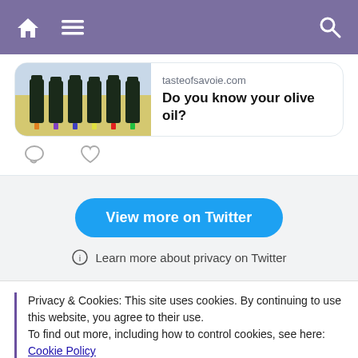Navigation bar with home, menu, and search icons
[Figure (screenshot): Tweet card showing olive oil bottles image with link to tasteofsavoie.com titled 'Do you know your olive oil?' with comment and like icons below]
View more on Twitter
Learn more about privacy on Twitter
Privacy & Cookies: This site uses cookies. By continuing to use this website, you agree to their use.
To find out more, including how to control cookies, see here: Cookie Policy
Close and accept